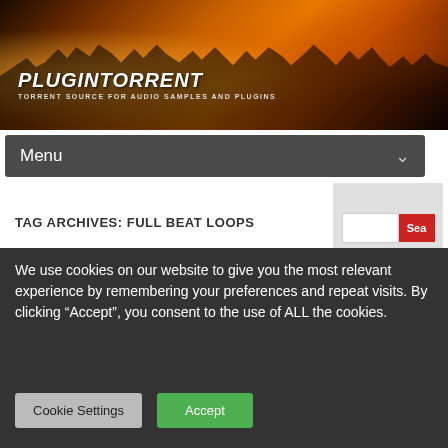[Figure (photo): Website header banner with concert crowd silhouettes and warm orange/amber lighting, showing 'PLUGINTORRENT' site logo and tagline]
PLUGINTORRENT
TORRENT SOURCE FOR AUDIO SAMPLES AND PLUGINS
Menu
TAG ARCHIVES: FULL BEAT LOOPS
We use cookies on our website to give you the most relevant experience by remembering your preferences and repeat visits. By clicking “Accept”, you consent to the use of ALL the cookies.
Cookie Settings
Accept